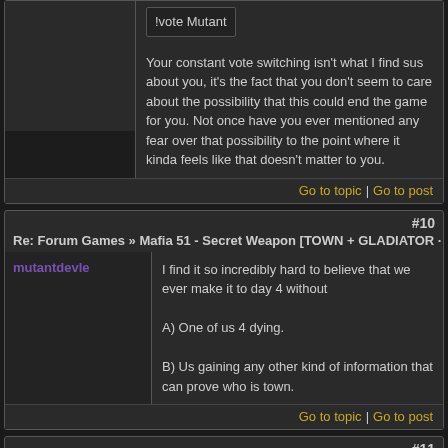!vote Mutant
Your constant vote switching isn't what I find sus about you, it's the fact that you don't seem to care about the possibility that this could end the game for you. Not once have you ever mentioned any fear over that possibility to the point where it kinda feels like that doesn't matter to you.
Go to topic | Go to post
#10
Re: Forum Games » Mafia 51 - Secret Weapon [TOWN + GLADIATOR ·
mutantdevle
I find it so incredibly hard to believe that we ever make it to day 4 without

A) One of us 4 dying.

B) Us gaining any other kind of information that can prove who is town.
Go to topic | Go to post
#11
Re: Forum Games » Mafia 51 - Secret Weapon [TOWN + GLADIATOR ·
mutantdevle
I'm gonna repeat myself here but this is yet another reminder that this entire